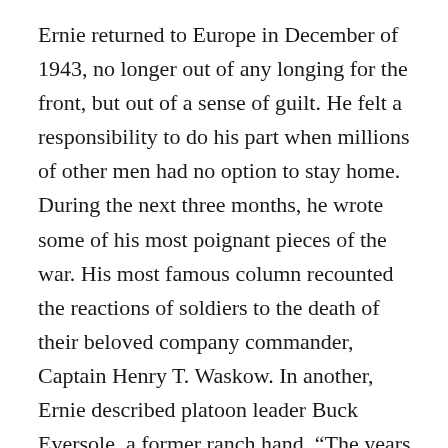Ernie returned to Europe in December of 1943, no longer out of any longing for the front, but out of a sense of guilt. He felt a responsibility to do his part when millions of other men had no option to stay home. During the next three months, he wrote some of his most poignant pieces of the war. His most famous column recounted the reactions of soldiers to the death of their beloved company commander, Captain Henry T. Waskow. In another, Ernie described platoon leader Buck Eversole, a former ranch hand. “The years rolled over him and the war became his only world, and battle his only profession. He armored himself with a philosophy of accepting whatever might